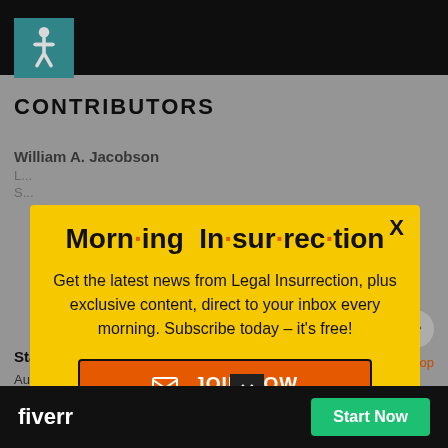CONTRIBUTORS
William A. Jacobson
Stacey Matthews
Johanna Markind
Author
New Neo
Mandy Nagy
[Figure (screenshot): Modal popup for Morning Insurrection newsletter subscription with yellow background, title 'Morn·ing In·sur·rec·tion', text 'Get the latest news from Legal Insurrection, plus exclusive content, direct to your inbox every morning. Subscribe today – it's free!', and an orange JOIN NOW button. An X close button is in the top right corner.]
[Figure (screenshot): Fiverr advertisement banner at the bottom of the page with black background, Fiverr logo, and green Start Now button.]